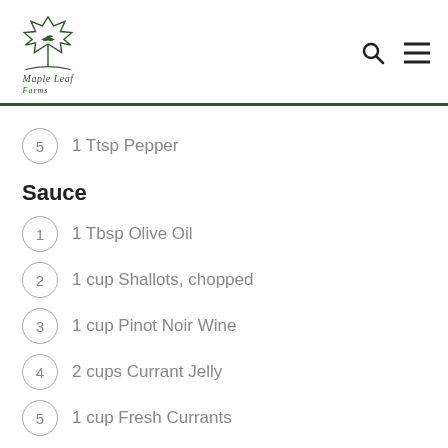Maple Leaf Farms
5  1 Ttsp Pepper
Sauce
1  1 Tbsp Olive Oil
2  1 cup Shallots, chopped
3  1 cup Pinot Noir Wine
4  2 cups Currant Jelly
5  1 cup Fresh Currants